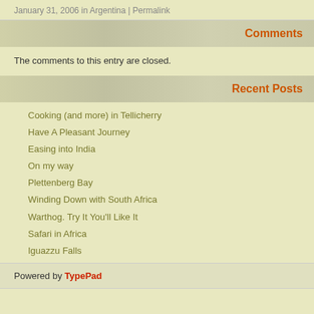January 31, 2006 in Argentina | Permalink
Comments
The comments to this entry are closed.
Recent Posts
Cooking (and more) in Tellicherry
Have A Pleasant Journey
Easing into India
On my way
Plettenberg Bay
Winding Down with South Africa
Warthog. Try It You'll Like It
Safari in Africa
Iguazzu Falls
Buenos Aires
Powered by TypePad